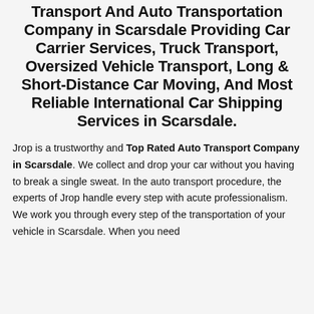Transport And Auto Transportation Company in Scarsdale Providing Car Carrier Services, Truck Transport, Oversized Vehicle Transport, Long & Short-Distance Car Moving, And Most Reliable International Car Shipping Services in Scarsdale.
Jrop is a trustworthy and Top Rated Auto Transport Company in Scarsdale. We collect and drop your car without you having to break a single sweat. In the auto transport procedure, the experts of Jrop handle every step with acute professionalism. We work you through every step of the transportation of your vehicle in Scarsdale. When you need